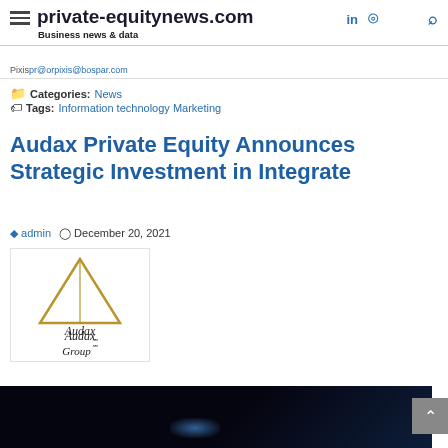private-equitynews.com — Business news & data
Pixis pr@orpixis@bospar.com
Categories: News
Tags: Information technology Marketing
Audax Private Equity Announces Strategic Investment in Integrate
admin  December 20, 2021
[Figure (logo): Audax Group logo with gold triangle and text 'Audax Group']
[Figure (photo): Dark background image with blue light, partially visible]